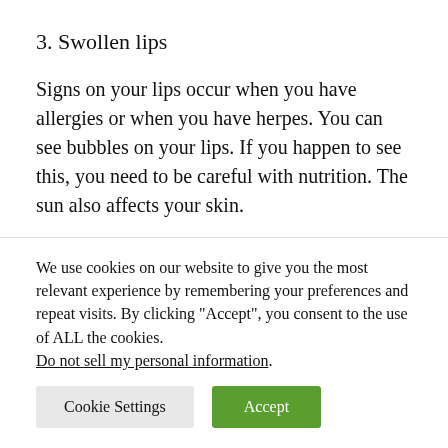3. Swollen lips
Signs on your lips occur when you have allergies or when you have herpes. You can see bubbles on your lips. If you happen to see this, you need to be careful with nutrition. The sun also affects your skin.
4. Problems with eyebrows
If you see that your eyebrows are thinning you need to
We use cookies on our website to give you the most relevant experience by remembering your preferences and repeat visits. By clicking “Accept”, you consent to the use of ALL the cookies.
Do not sell my personal information.